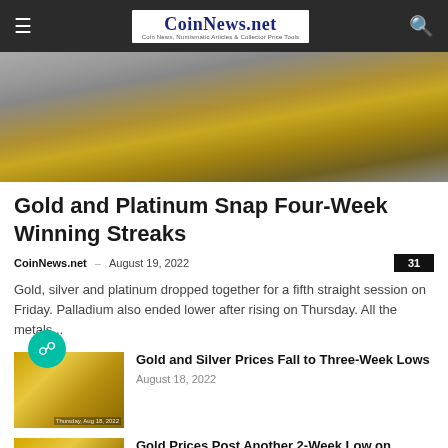CoinNews.net — Coin News, Numismatic Articles & Collector Price Tools
[Figure (photo): Close-up photograph of gold bars on a grey surface]
Gold and Platinum Snap Four-Week Winning Streaks
CoinNews.net – August 19, 2022
Gold, silver and platinum dropped together for a fifth straight session on Friday. Palladium also ended lower after rising on Thursday. All the metals...
Gold and Silver Prices Fall to Three-Week Lows
August 18, 2022
Gold Prices Post Another 2-Week Low on